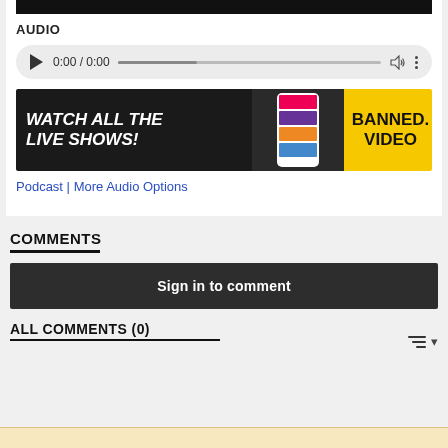[Figure (screenshot): Black video bar at top of card]
AUDIO
[Figure (screenshot): Audio player with play button, 0:00 / 0:00 timestamp, progress bar, volume icon, and more options icon]
[Figure (screenshot): Banner ad: WATCH ALL THE LIVE SHOWS! on black background with phone showing video thumbnails, and BANNED. VIDEO on yellow background]
Podcast | More Audio Options
COMMENTS
Sign in to comment
ALL COMMENTS (0)